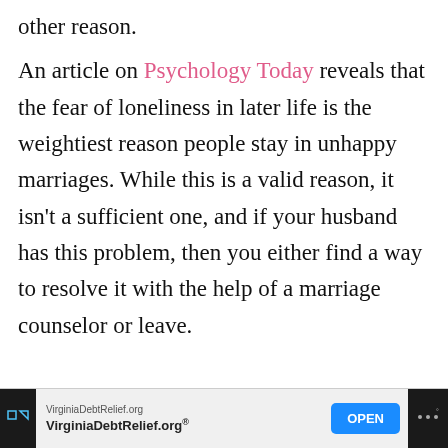other reason.
An article on Psychology Today reveals that the fear of loneliness in later life is the weightiest reason people stay in unhappy marriages. While this is a valid reason, it isn't a sufficient one, and if your husband has this problem, then you either find a way to resolve it with the help of a marriage counselor or leave.
[Figure (screenshot): Advertisement banner for VirginiaDebtRelief.org with an OPEN button]